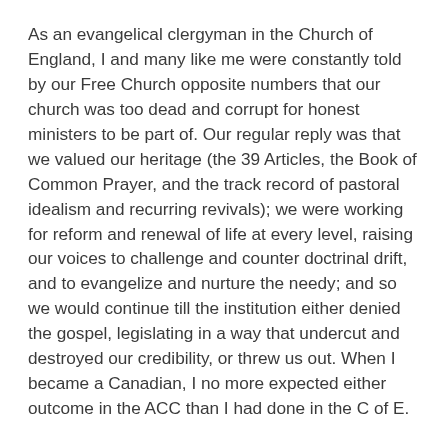As an evangelical clergyman in the Church of England, I and many like me were constantly told by our Free Church opposite numbers that our church was too dead and corrupt for honest ministers to be part of. Our regular reply was that we valued our heritage (the 39 Articles, the Book of Common Prayer, and the track record of pastoral idealism and recurring revivals); we were working for reform and renewal of life at every level, raising our voices to challenge and counter doctrinal drift, and to evangelize and nurture the needy; and so we would continue till the institution either denied the gospel, legislating in a way that undercut and destroyed our credibility, or threw us out. When I became a Canadian, I no more expected either outcome in the ACC than I had done in the C of E.
However, it happened. The same diocese in which Ed and I served, New Westminster, resolved to class same-sex unions with holy matrimony and bless them accordingly. As 1 Corinthians 6 makes clear, that means negating one main strand of the apostolic doctrine of sin and the gospel